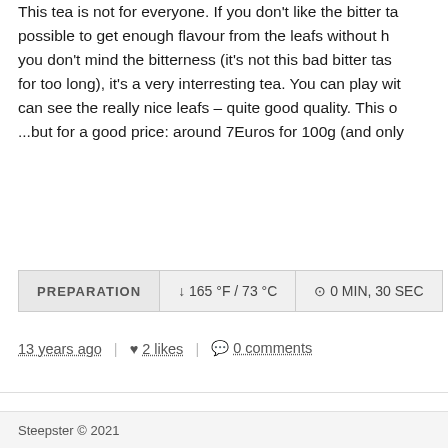This tea is not for everyone. If you don't like the bitter taste, it's possible to get enough flavour from the leafs without having it. If you don't mind the bitterness (it's not this bad bitter taste if you don't steep for too long), it's a very interresting tea. You can play with it and you can see the really nice leafs – quite good quality. This one is not cheap ..but for a good price: around 7Euros for 100g (and only
PREPARATION  ↓ 165 °F / 73 °C  ⊙ 0 MIN, 30 SEC
13 years ago  |  ♥ 2 likes  |  💬 0 comments
Previous  1  Next
Steepster © 2021